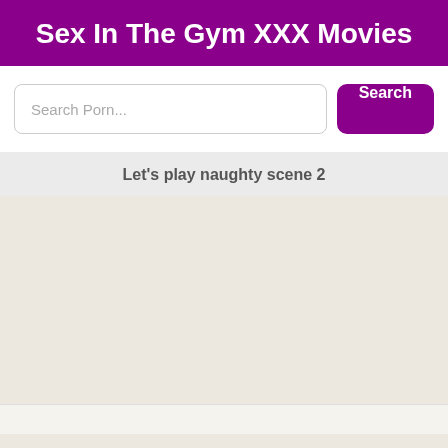Sex In The Gym XXX Movies
Search Porn...
Search
Let's play naughty scene 2